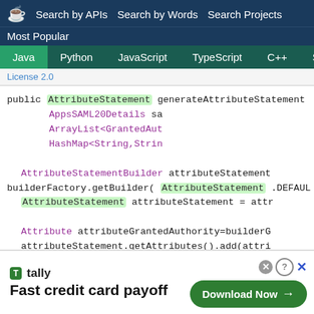Search by APIs   Search by Words   Search Projects
Most Popular
Java   Python   JavaScript   TypeScript   C++   Scala
License 2.0
public AttributeStatement generateAttributeStatement(
                                    AppsSAML20Details sa
                                    ArrayList<GrantedAut
                                    HashMap<String,Strin

        AttributeStatementBuilder attributeStatement
builderFactory.getBuilder( AttributeStatement .DEFAUL
        AttributeStatement attributeStatement = attr

        Attribute attributeGrantedAuthority=builderG
        attributeStatement.getAttributes().add(attri

        if(null!=attributeMap){
[Figure (screenshot): Tally app advertisement: Fast credit card payoff with Download Now button]